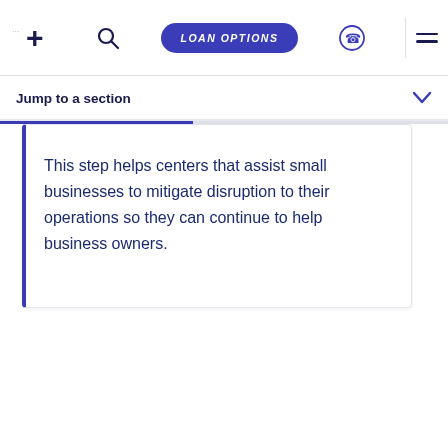LOAN OPTIONS
Jump to a section
This step helps centers that assist small businesses to mitigate disruption to their operations so they can continue to help business owners.